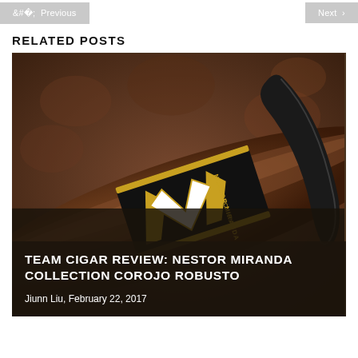< Previous    Next >
RELATED POSTS
[Figure (photo): Close-up photo of a cigar with a black and gold band reading 'Nestor Miranda Collection', resting on a textured surface with a cigar cutter in the background.]
TEAM CIGAR REVIEW: NESTOR MIRANDA COLLECTION COROJO ROBUSTO
Jiunn Liu, February 22, 2017